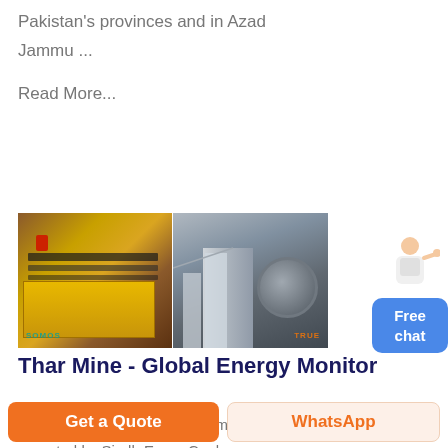Pakistan's provinces and in Azad Jammu ...
Read More...
[Figure (photo): Two side-by-side photos of mining equipment: left shows a yellow vibrating screen/sieve machine, right shows industrial mining tower and wheel machinery. Watermarks visible.]
Thar Mine - Global Energy Monitor
Thar Mine is an open-pit coal mine, operated by Sindh Engro Coal Mining Company, a joint venture
Get a Quote
WhatsApp